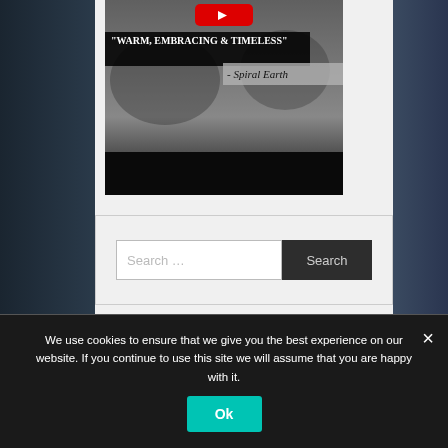[Figure (screenshot): Video thumbnail with red play button, bold quote 'WARM, EMBRACING & TIMELESS' on dark banner, and italic attribution '- Spiral Earth' on grey banner. Dark atmospheric background with brooding sky imagery.]
Search …
Search
We use cookies to ensure that we give you the best experience on our website. If you continue to use this site we will assume that you are happy with it.
Ok